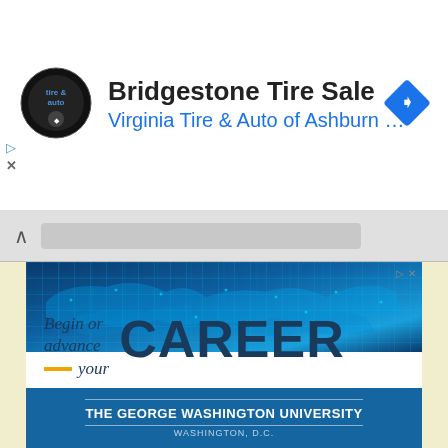[Figure (screenshot): Top banner advertisement for Bridgestone Tire Sale by Virginia Tire & Auto of Ashburn, showing circular tire and auto logo, bold black title text, blue subtitle text, and a blue diamond navigation icon on the right.]
[Figure (screenshot): Browser chrome area with a caret/collapse button and a grey address bar.]
[Figure (infographic): Advertisement for The George Washington University cybersecurity program. Top section shows a digital blue world map with grid overlay. Middle white section reads 'Begin or advance your CAREER in CYBERSECURITY' with gold accent lines. Bottom blue section reads 'THE GEORGE WASHINGTON UNIVERSITY'.]